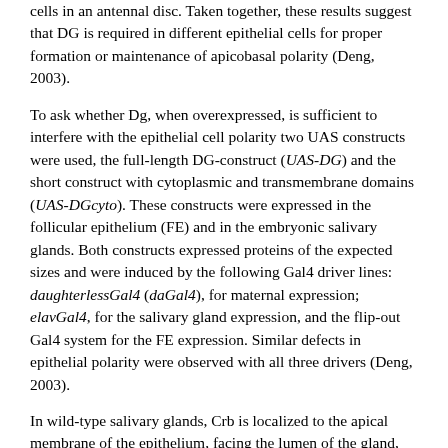cells in an antennal disc. Taken together, these results suggest that DG is required in different epithelial cells for proper formation or maintenance of apicobasal polarity (Deng, 2003).
To ask whether Dg, when overexpressed, is sufficient to interfere with the epithelial cell polarity two UAS constructs were used, the full-length DG-construct (UAS-DG) and the short construct with cytoplasmic and transmembrane domains (UAS-DGcyto). These constructs were expressed in the follicular epithelium (FE) and in the embryonic salivary glands. Both constructs expressed proteins of the expected sizes and were induced by the following Gal4 driver lines: daughterlessGal4 (daGal4), for maternal expression; elavGal4, for the salivary gland expression, and the flip-out Gal4 system for the FE expression. Similar defects in epithelial polarity were observed with all three drivers (Deng, 2003).
In wild-type salivary glands, Crb is localized to the apical membrane of the epithelium, facing the lumen of the gland, while Dg expression is undetectable. Embryos that overexpress Dg show strong ectopic Dg staining on both the apical and basolateral membranes of the salivary gland. In about 75% of these salivary glands, the expression of Crb